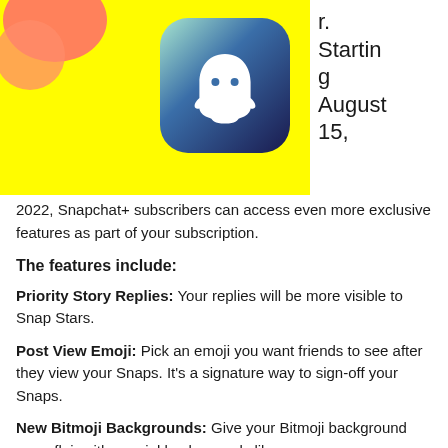[Figure (screenshot): Snapchat+ promotional image with yellow background, Snapchat ghost app icon on dark gradient background, and partial logo visible on left side]
r. Starting August 15, 2022, Snapchat+ subscribers can access even more exclusive features as part of your subscription.
The features include:
Priority Story Replies: Your replies will be more visible to Snap Stars.
Post View Emoji: Pick an emoji you want friends to see after they view your Snaps. It's a signature way to sign-off your Snaps.
New Bitmoji Backgrounds: Give your Bitmoji background more flair with special backgrounds like